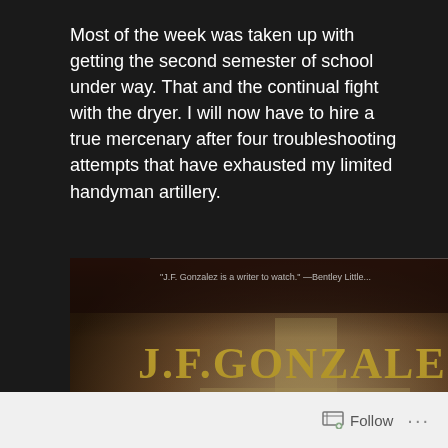Most of the week was taken up with getting the second semester of school under way. That and the continual fight with the dryer. I will now have to hire a true mercenary after four troubleshooting attempts that have exhausted my limited handyman artillery.
[Figure (photo): Book cover for J.F. Gonzalez — dark cover showing a cross-shaped shadow on a wall, burning cars at the bottom, with a quote 'J.F. Gonzalez is a writer to watch.' —Bentley Little...]
Follow ...